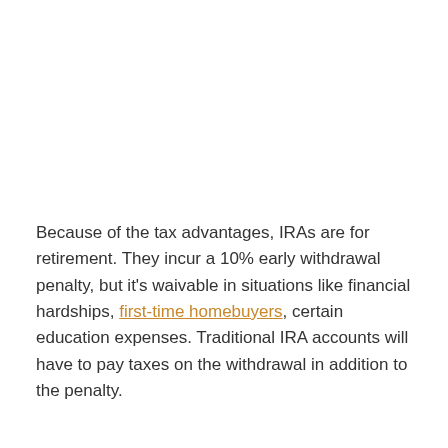Because of the tax advantages, IRAs are for retirement. They incur a 10% early withdrawal penalty, but it's waivable in situations like financial hardships, first-time homebuyers, certain education expenses. Traditional IRA accounts will have to pay taxes on the withdrawal in addition to the penalty.